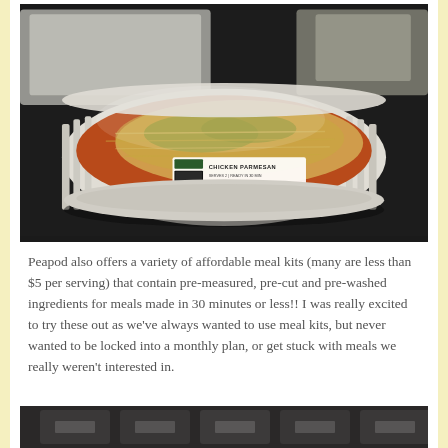[Figure (photo): A plastic tray container of Chicken Parmesan meal kit with pasta and sauce, labeled 'CHICKEN PARMESAN', sitting on a dark surface with other containers in the background.]
Peapod also offers a variety of affordable meal kits (many are less than $5 per serving) that contain pre-measured, pre-cut and pre-washed ingredients for meals made in 30 minutes or less!! I was really excited to try these out as we've always wanted to use meal kits, but never wanted to be locked into a monthly plan, or get stuck with meals we really weren't interested in.
[Figure (photo): Bottom portion of a photo showing dark packaged meal kit bags on a surface, partially cropped.]